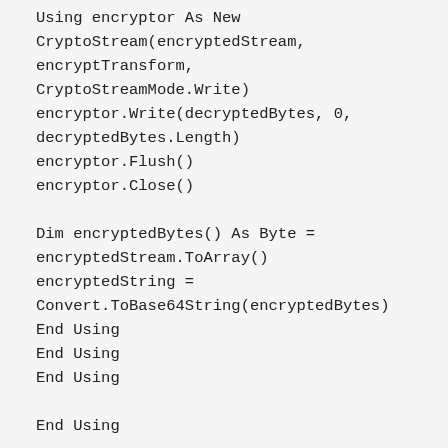Using encryptor As New CryptoStream(encryptedStream, encryptTransform, CryptoStreamMode.Write)
    encryptor.Write(decryptedBytes, 0, decryptedBytes.Length)
    encryptor.Flush()
    encryptor.Close()

    Dim encryptedBytes() As Byte = encryptedStream.ToArray()
    encryptedString = Convert.ToBase64String(encryptedBytes)
    End Using
    End Using
    End Using

    End Using

    Return encryptedString